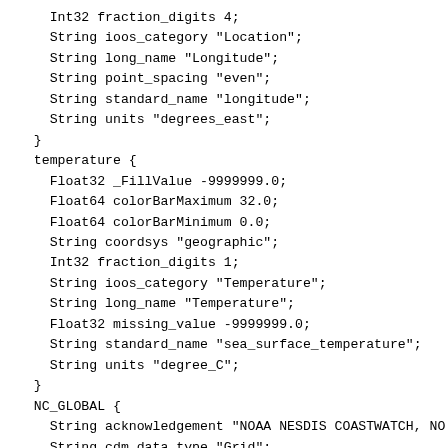Int32 fraction_digits 4;
    String ioos_category "Location";
    String long_name "Longitude";
    String point_spacing "even";
    String standard_name "longitude";
    String units "degrees_east";
  }
  temperature {
    Float32 _FillValue -9999999.0;
    Float64 colorBarMaximum 32.0;
    Float64 colorBarMinimum 0.0;
    String coordsys "geographic";
    Int32 fraction_digits 1;
    String ioos_category "Temperature";
    String long_name "Temperature";
    Float32 missing_value -9999999.0;
    String standard_name "sea_surface_temperature";
    String units "degree_C";
  }
  NC_GLOBAL {
    String acknowledgement "NOAA NESDIS COASTWATCH, NO
    String cdm_data_type "Grid";
    String composite "false";
    String contributor_name "NOAA NWS Monterey and NOA
    String contributor_role "Source of level 2 data.";
    String Conventions "COARDS, CF-1.6, ACDD-1.3";